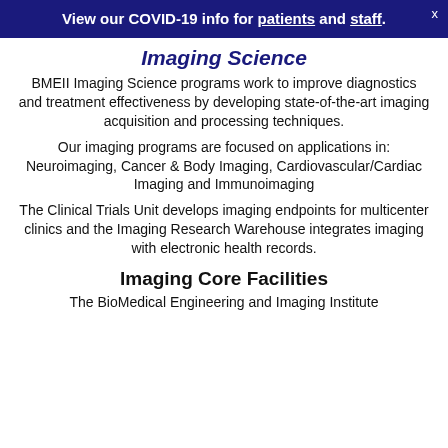View our COVID-19 info for patients and staff.
Imaging Science
BMEII Imaging Science programs work to improve diagnostics and treatment effectiveness by developing state-of-the-art imaging acquisition and processing techniques.
Our imaging programs are focused on applications in: Neuroimaging, Cancer & Body Imaging, Cardiovascular/Cardiac Imaging and Immunoimaging
The Clinical Trials Unit develops imaging endpoints for multicenter clinics and the Imaging Research Warehouse integrates imaging with electronic health records.
Imaging Core Facilities
The BioMedical Engineering and Imaging Institute